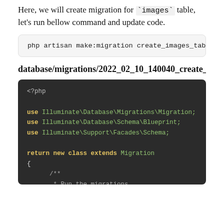Here, we will create migration for `images` table, let's run bellow command and update code.
php artisan make:migration create_images_table
database/migrations/2022_02_10_140040_create_
[Figure (screenshot): Dark-themed PHP code block showing the beginning of a Laravel migration file with use statements for Illuminate\Database\Migrations\Migration, Illuminate\Database\Schema\Blueprint, Illuminate\Support\Facades\Schema, and a return new class extends Migration with a public function up() method stub.]